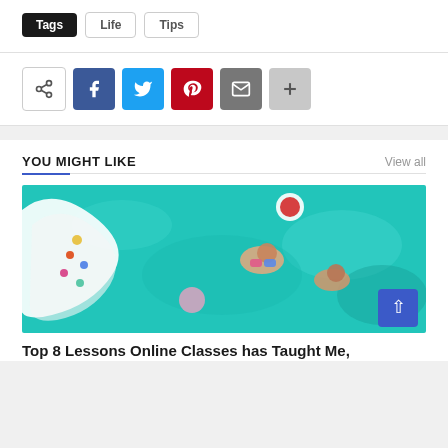Tags   Life   Tips
[Figure (infographic): Social sharing icon bar: share icon (outlined), Facebook (blue), Twitter (cyan), Pinterest (red), Email (gray), More/plus (light gray)]
YOU MIGHT LIKE
[Figure (photo): Aerial view of a swimming pool with people floating on colorful inflatables in turquoise water]
Top 8 Lessons Online Classes has Taught Me,